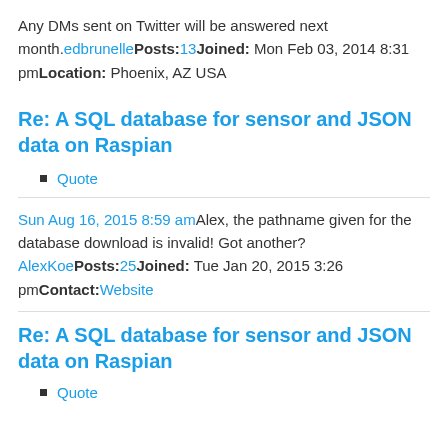Any DMs sent on Twitter will be answered next month.edbrunellePosts:13Joined: Mon Feb 03, 2014 8:31 pmLocation: Phoenix, AZ USA
Re: A SQL database for sensor and JSON data on Raspian
Quote
Sun Aug 16, 2015 8:59 amAlex, the pathname given for the database download is invalid! Got another? AlexKoePosts:25Joined: Tue Jan 20, 2015 3:26 pmContact:Website
Re: A SQL database for sensor and JSON data on Raspian
Quote